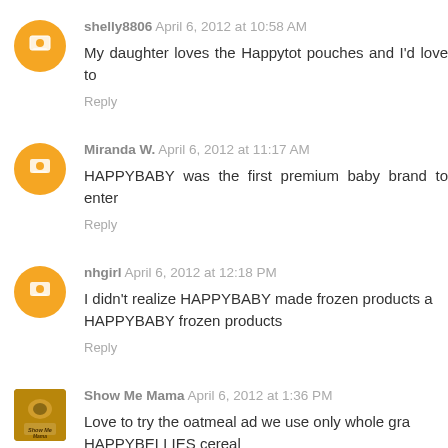shelly8806 April 6, 2012 at 10:58 AM
My daughter loves the Happytot pouches and I'd love to
Reply
Miranda W. April 6, 2012 at 11:17 AM
HAPPYBABY was the first premium baby brand to enter
Reply
nhgirl April 6, 2012 at 12:18 PM
I didn't realize HAPPYBABY made frozen products a HAPPYBABY frozen products
Reply
Show Me Mama April 6, 2012 at 1:36 PM
Love to try the oatmeal ad we use only whole gra HAPPYBELLIES cereal